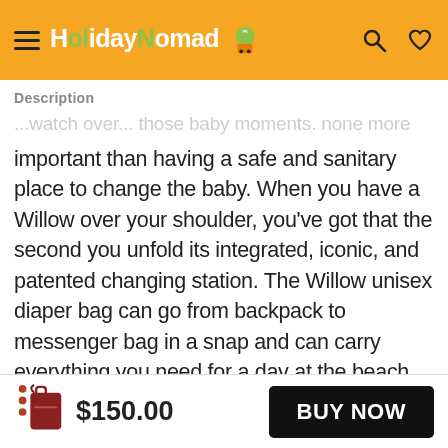HolidayNomad [logo]
Description
important than having a safe and sanitary place to change the baby. When you have a Willow over your shoulder, you've got that the second you unfold its integrated, iconic, and patented changing station. The Willow unisex diaper bag can go from backpack to messenger bag in a snap and can carry everything you need for a day at the beach, an evening in the park, and everything in between INTEGRATED BABY CHANGING STATION – We know your life is busy, that's why diaper changing should
$150.00  BUY NOW